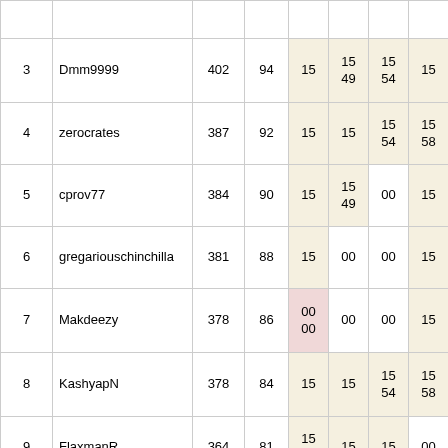| # | Name | Score | Pts | R1 | R2 | R3 | R4 | R5 | R6 |
| --- | --- | --- | --- | --- | --- | --- | --- | --- | --- |
|  |  |  |  |  |  |  |  | 52 | 4 |
| 3 | Dmm9999 | 402 | 94 | 15 | 15 49 | 15 54 | 15 | 15 52 | 1 4 |
| 4 | zerocrates | 387 | 92 | 15 | 15 | 15 54 | 15 58 | 15 | 1 4 |
| 5 | cprov77 | 384 | 90 | 15 | 15 49 | 00 | 15 | 00 | 1 4 |
| 6 | gregariouschinchilla | 381 | 88 | 15 | 00 | 00 | 15 | 15 52 | 1 4 |
| 7 | Makdeezy | 378 | 86 | 00 00 | 00 | 00 | 15 | 15 52 | 1 4 |
| 8 | KashyapN | 378 | 84 | 15 | 15 | 15 54 | 15 58 | 15 | 1 4 |
| 9 | FlaxmanR | 364 | 81 | 15 13 | 15 | 15 | 00 | 15 52 | 1 |
| 10 | JordanG | 348 | 79 | 15 | 15 49 | 15 | 00 | 00 | 1 4 |
| 11 | RichmondJ | 334 | 77 | 15 | 00 | 15 | 15 | 15 | 1 |